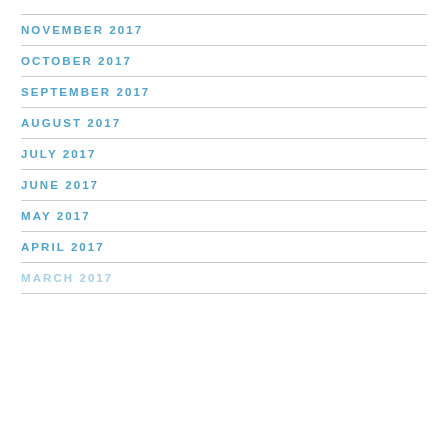NOVEMBER 2017
OCTOBER 2017
SEPTEMBER 2017
AUGUST 2017
JULY 2017
JUNE 2017
MAY 2017
APRIL 2017
MARCH 2017